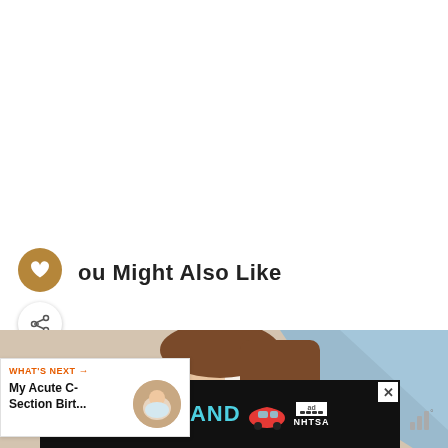You Might Also Like
[Figure (photo): Woman lying in hospital bed, possibly post C-section, with light blue fabric visible]
WHAT'S NEXT → My Acute C-Section Birt...
[Figure (photo): Advertisement banner: DON'T TEXT AND [car emoji] with NHTSA logo]